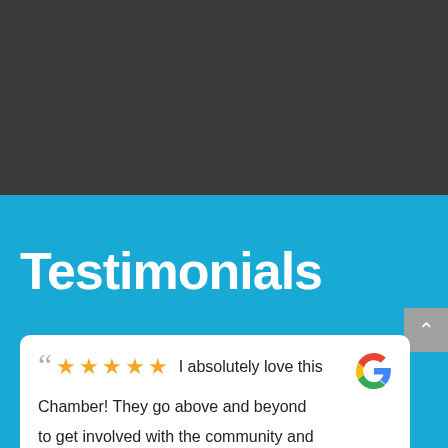[Figure (photo): Dark grey background section at top of page]
Testimonials
" ★★★★★ I absolutely love this Chamber! They go above and beyond to get involved with the community and